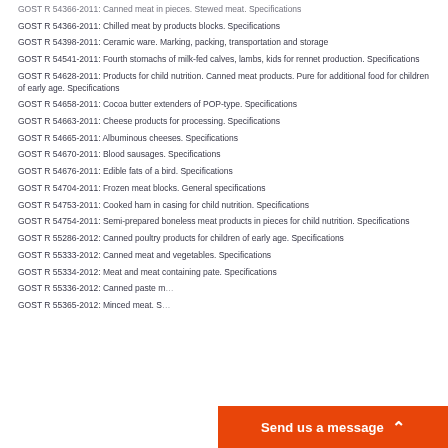GOST R 54366-2011: Chilled meat by products blocks. Specifications
GOST R 54398-2011: Ceramic ware. Marking, packing, transportation and storage
GOST R 54541-2011: Fourth stomachs of milk-fed calves, lambs, kids for rennet production. Specifications
GOST R 54628-2011: Products for child nutrition. Canned meat products. Pure for additional food for children of early age. Specifications
GOST R 54658-2011: Cocoa butter extenders of POP-type. Specifications
GOST R 54663-2011: Cheese products for processing. Specifications
GOST R 54665-2011: Albuminous cheeses. Specifications
GOST R 54670-2011: Blood sausages. Specifications
GOST R 54676-2011: Edible fats of a bird. Specifications
GOST R 54704-2011: Frozen meat blocks. General specifications
GOST R 54753-2011: Cooked ham in casing for child nutrition. Specifications
GOST R 54754-2011: Semi-prepared boneless meat products in pieces for child nutrition. Specifications
GOST R 55286-2012: Canned poultry products for children of early age. Specifications
GOST R 55333-2012: Canned meat and vegetables. Specifications
GOST R 55334-2012: Meat and meat containing pate. Specifications
GOST R 55336-2012: Canned paste m...
GOST R 55365-2012: Minced meat. Sp...